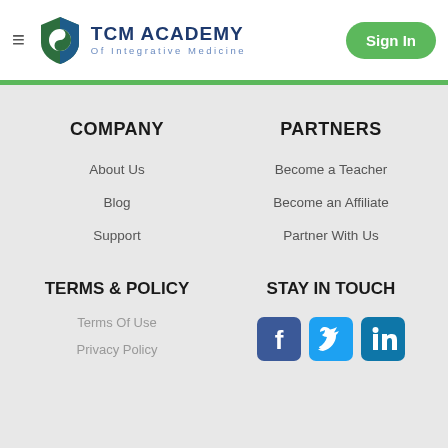TCM ACADEMY Of Integrative Medicine — Sign In
COMPANY
About Us
Blog
Support
PARTNERS
Become a Teacher
Become an Affiliate
Partner With Us
TERMS & POLICY
Terms Of Use
Privacy Policy
STAY IN TOUCH
[Figure (logo): Facebook, Twitter, and LinkedIn social media icon buttons]